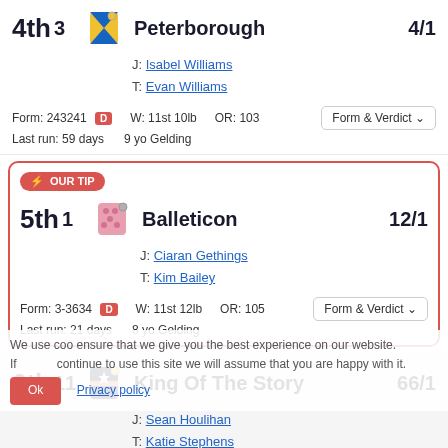4th 3 Peterborough 4/1 J: Isabel Williams T: Evan Williams Form: 243241 D W: 11st 10lb OR: 103 Last run: 59 days 9 yo Gelding
OUR TIP 5th 1 Balleticon 12/1 J: Ciaran Gethings T: Kim Bailey Form: 3-3634 D W: 11st 12lb OR: 105 Last run: 21 days 8 yo Gelding
6th 11 King Of The Story 66/1 J: Sean Houlihan T: Katie Stephens Form: 0-009P W: 10st 0lb OR: 69